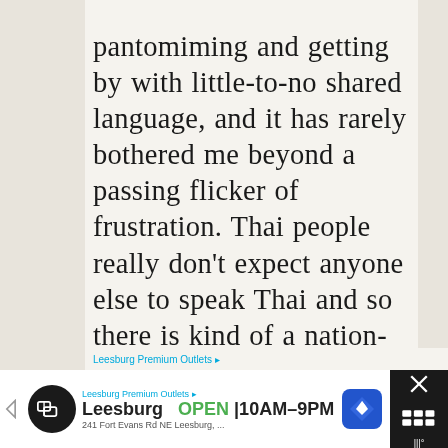pantomiming and getting by with little-to-no shared language, and it has rarely bothered me beyond a passing flicker of frustration. Thai people really don't expect anyone else to speak Thai and so there is kind of a nation-wide game of communication going on between locals and tourists at all times, and it's generally very good natured and casual. But I found that in Brazil, it was harder to get anyone to even attempt to communicate — as soon as I apologetically spoke
[Figure (screenshot): Advertisement banner for Leesburg Premium Outlets showing logo, open hours 10AM-9PM, directional diamond icon, and close button]